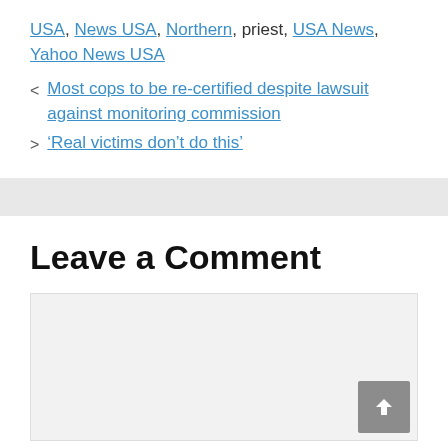USA, News USA, Northern, priest, USA News, Yahoo News USA
< Most cops to be re-certified despite lawsuit against monitoring commission
> 'Real victims don't do this'
Leave a Comment